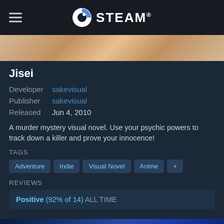STEAM
[Figure (screenshot): Top portion of a game banner image showing anime-style character art with warm/golden tones]
Jisei
Developer  sakevisual
Publisher  sakevisual
Released   Jun 4, 2010
A murder mystery visual novel. Use your psychic powers to track down a killer and prove your innocence!
TAGS
Adventure
Indie
Visual Novel
Anime
+
REVIEWS
Positive (92% of 14) ALL TIME
[Figure (screenshot): Bottom portion showing a blue-toned game scene with 'sakevisual presents' text visible]